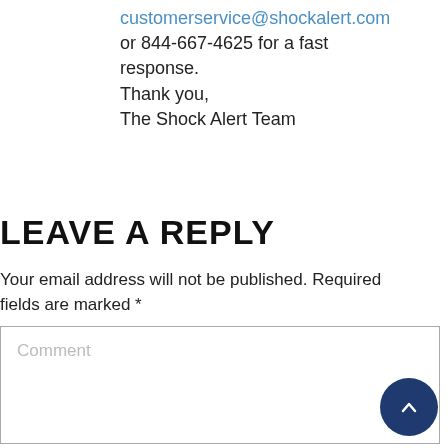customerservice@shockalert.com or 844-667-4625 for a fast response.
Thank you,
The Shock Alert Team
LEAVE A REPLY
Your email address will not be published. Required fields are marked *
Comment